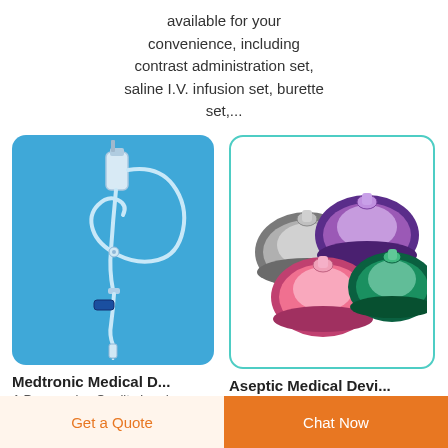available for your convenience, including contrast administration set, saline I.V. infusion set, burette set,...
[Figure (photo): IV infusion set with tubing, drip chamber and connectors on blue background]
[Figure (photo): Multiple anaesthesia face masks in different colors (grey, purple, pink, green) on white background]
Medtronic Medical D...
A Progressive Quality Leader
Aseptic Medical Devi...
Aseptic Medical Devices
Get a Quote
Chat Now